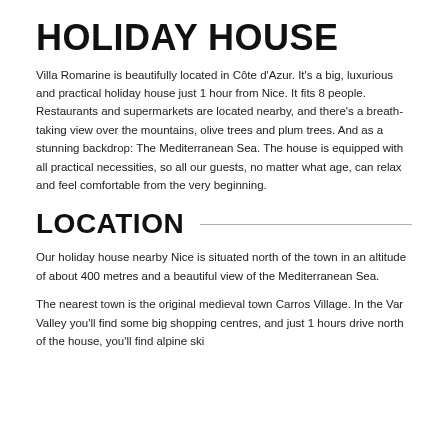HOLIDAY HOUSE
Villa Romarine is beautifully located in Côte d'Azur. It's a big, luxurious and practical holiday house just 1 hour from Nice. It fits 8 people. Restaurants and supermarkets are located nearby, and there's a breath-taking view over the mountains, olive trees and plum trees. And as a stunning backdrop: The Mediterranean Sea. The house is equipped with all practical necessities, so all our guests, no matter what age, can relax and feel comfortable from the very beginning.
LOCATION
Our holiday house nearby Nice is situated north of the town in an altitude of about 400 metres and a beautiful view of the Mediterranean Sea.
The nearest town is the original medieval town Carros Village. In the Var Valley you'll find some big shopping centres, and just 1 hours drive north of the house, you'll find alpine ski